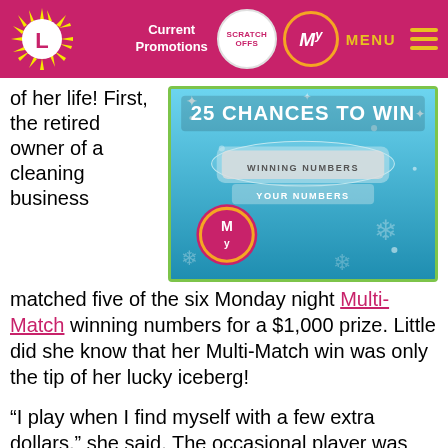Current Promotions | SCRATCH OFFS | My | MENU
of her life! First, the retired owner of a cleaning business matched five of the six Monday night Multi-Match winning numbers for a $1,000 prize. Little did she know that her Multi-Match win was only the tip of her lucky iceberg!
[Figure (photo): Lottery scratch-off ticket with blue winter design showing '25 CHANCES TO WIN', 'WINNING NUMBERS', 'YOUR NUMBERS', and the My Lottery Rewards badge]
“I play when I find myself with a few extra dollars,” she said. The occasional player was extra grateful to win the $1,000 because it answered a prayer. “I didn’t pray for money, or for a Lottery win, but just for guidance and support,” she said.
Accompanied by her sister, the 66-year-old cashed her $1,000 winning ticket at 8 Days a Week Convenience Mart in Parkville. On the way